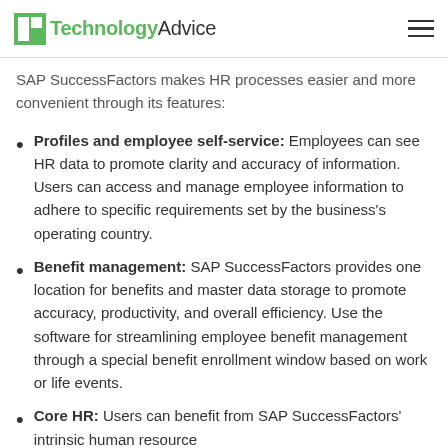TechnologyAdvice
SAP SuccessFactors makes HR processes easier and more convenient through its features:
Profiles and employee self-service: Employees can see HR data to promote clarity and accuracy of information. Users can access and manage employee information to adhere to specific requirements set by the business's operating country.
Benefit management: SAP SuccessFactors provides one location for benefits and master data storage to promote accuracy, productivity, and overall efficiency. Use the software for streamlining employee benefit management through a special benefit enrollment window based on work or life events.
Core HR: Users can benefit from SAP SuccessFactors' intrinsic human resource